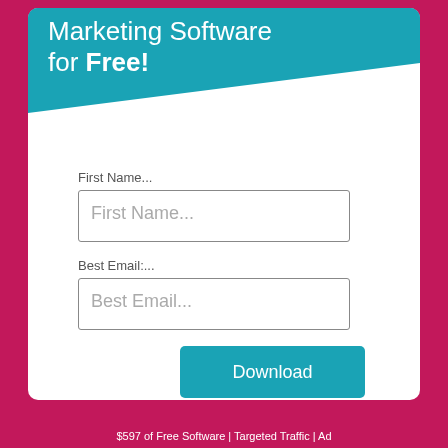Marketing Software for Free!
First Name...
[Figure (other): Text input field with placeholder 'First Name...']
Best Email:...
[Figure (other): Text input field with placeholder 'Best Email...']
Download
$597 of Free Software | Targeted Traffic | Ad